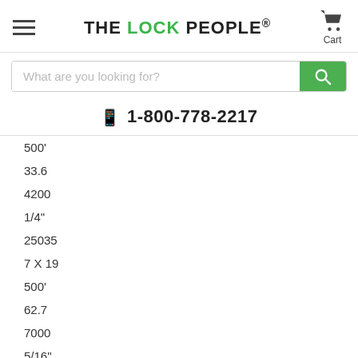THE LOCK PEOPLE. Cart
What are you looking for?
1-800-778-2217
500'
33.6
4200
1/4"
25035
7 X 19
500'
62.7
7000
5/16"
25037
7 X 19
500'